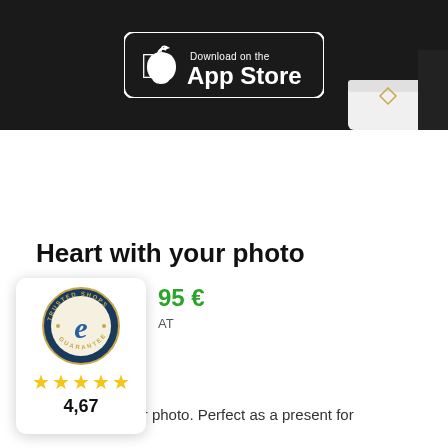[Figure (screenshot): App Store download badge on dark background with partial product image (white cup/heart visible at top right)]
Heart with your photo
95 €
AT
[Figure (logo): Trusted Shops guarantee badge with 'e' logo, 5 gold stars, and rating 4,67]
A heart with your photo. Perfect as a present for